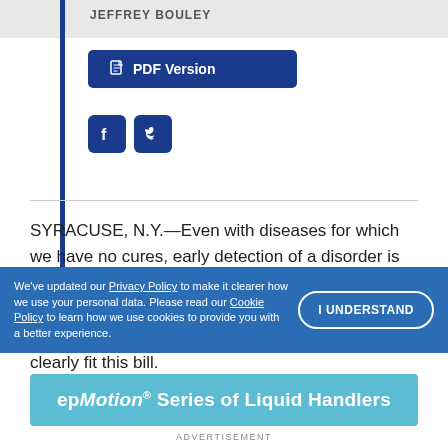JEFFREY BOULEY
[Figure (other): PDF Version button with document icon]
[Figure (other): Social media icons: Facebook and Twitter]
SYRACUSE, N.Y.—Even with diseases for which we have no cures, early detection of a disorder is often key to better quality of life and slower decline of function—and neurological ailments like Parkinson's disease (PD) and Alzheimer's disease clearly fit this bill.
We've updated our Privacy Policy to make it clearer how we use your personal data. Please read our Cookie Policy to learn how we use cookies to provide you with a better experience.
I UNDERSTAND
[Figure (other): Advertisement banner: epMotion® Series of Liquid Handlers]
ADVERTISEMENT